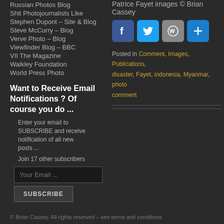Russian Photos Blog
Shit Photojournalists Like
Stephen Dupont – Site & Blog
Steve McCurry – Blog
Verve Photo – Blog
Viewfinder Blog – BBC
VII The Magazine
Walkley Foundation
World Press Photo
Want to Receive Email Notifications ? Of course you do ...
Enter your email to SUBSCRIBE and receive notification of all new posts ...
Join 17 other subscribers
Patrice Fayet images © Brian Cassey
[Figure (other): Social media share buttons: Facebook, Twitter, WordPress, and a plus/share button]
Posted in Comment, Images, Publications, disaster, Fayet, indonesia, Myanmar, photo, comment
© Brian Cassey. All rights reserved – see terms and conditions